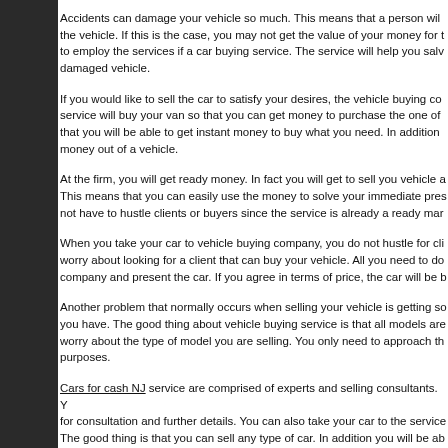Accidents can damage your vehicle so much. This means that a person will the vehicle. If this is the case, you may not get the value of your money for t to employ the services if a car buying service. The service will help you salv damaged vehicle.
If you would like to sell the car to satisfy your desires, the vehicle buying co service will buy your van so that you can get money to purchase the one of that you will be able to get instant money to buy what you need. In addition money out of a vehicle.
At the firm, you will get ready money. In fact you will get to sell you vehicle a This means that you can easily use the money to solve your immediate pres not have to hustle clients or buyers since the service is already a ready mar
When you take your car to vehicle buying company, you do not hustle for cli worry about looking for a client that can buy your vehicle. All you need to do company and present the car. If you agree in terms of price, the car will be b
Another problem that normally occurs when selling your vehicle is getting so you have. The good thing about vehicle buying service is that all models are worry about the type of model you are selling. You only need to approach th purposes.
Cars for cash NJ service are comprised of experts and selling consultants. Y for consultation and further details. You can also take your car to the service The good thing is that you can sell any type of car. In addition you will be ab
You can visit www.autoscash.com for more helpful information about Everyt